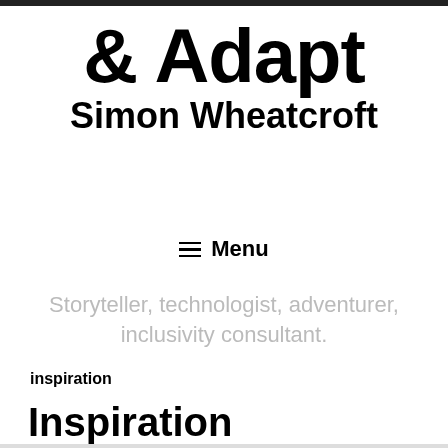& Adapt
Simon Wheatcroft
≡ Menu
Storyteller, technologist, adventurer, inclusivity consultant.
inspiration
Inspiration